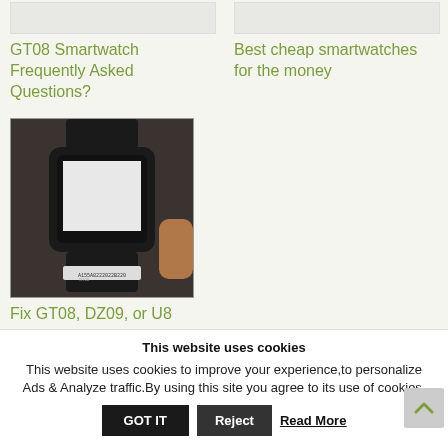[Figure (photo): Partial view of a smartwatch product image (cropped at top)]
GT08 Smartwatch Frequently Asked Questions?
[Figure (photo): Partial view of a smartwatch product image (cropped at top)]
Best cheap smartwatches for the money
[Figure (photo): Photo of a black smartwatch (GT08/DZ09/U8 style) showing screen and band]
Fix GT08, DZ09, or U8
Smartwatch Tips...
This website uses cookies
This website uses cookies to improve your experience,to personalize Ads & Analyze traffic.By using this site you agree to its use of cookies.
GOT IT
Reject
Read More